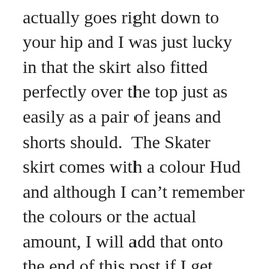actually goes right down to your hip and I was just lucky in that the skirt also fitted perfectly over the top just as easily as a pair of jeans and shorts should.  The Skater skirt comes with a colour Hud and although I can't remember the colours or the actual amount, I will add that onto the end of this post if I get time to get back inworld and count them.  The “shades” also come from the same shop and